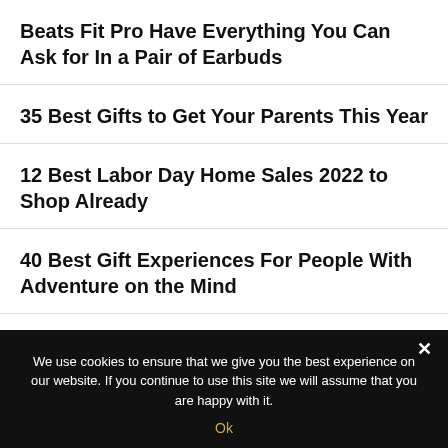Beats Fit Pro Have Everything You Can Ask for In a Pair of Earbuds
35 Best Gifts to Get Your Parents This Year
12 Best Labor Day Home Sales 2022 to Shop Already
40 Best Gift Experiences For People With Adventure on the Mind
The McLaren Solus GT is a Gamer's Dream Come True
We use cookies to ensure that we give you the best experience on our website. If you continue to use this site we will assume that you are happy with it.
Ok